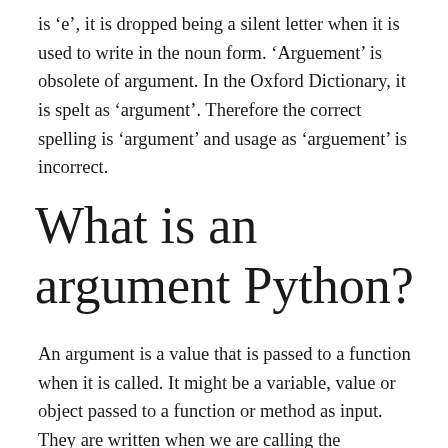is 'e', it is dropped being a silent letter when it is used to write in the noun form. 'Arguement' is obsolete of argument. In the Oxford Dictionary, it is spelt as 'argument'. Therefore the correct spelling is 'argument' and usage as 'arguement' is incorrect.
What is an argument Python?
An argument is a value that is passed to a function when it is called. It might be a variable, value or object passed to a function or method as input. They are written when we are calling the